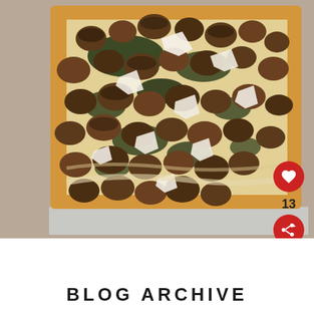[Figure (photo): Overhead shot of a mushroom and spinach puff pastry tart with cheese shavings on a baking tray, with a red heart (like) button showing count 13 and a red share button overlaid on the right side]
13
WHAT'S NEXT → Roasted Vegetable...
BLOG ARCHIVE